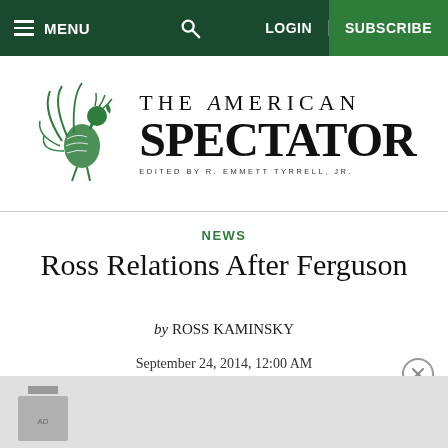MENU   [search]   LOGIN   SUBSCRIBE
[Figure (logo): The American Spectator logo with green peacock illustration and text 'THE AMERICAN SPECTATOR - EDITED BY R. EMMETT TYRRELL, JR.']
NEWS
Ross Relations After Ferguson
by ROSS KAMINSKY
September 24, 2014, 12:00 AM